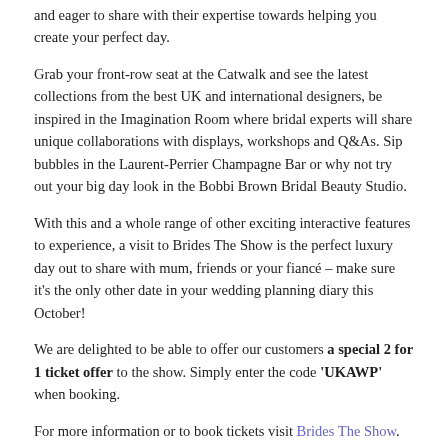and eager to share with their expertise towards helping you create your perfect day.
Grab your front-row seat at the Catwalk and see the latest collections from the best UK and international designers, be inspired in the Imagination Room where bridal experts will share unique collaborations with displays, workshops and Q&As. Sip bubbles in the Laurent-Perrier Champagne Bar or why not try out your big day look in the Bobbi Brown Bridal Beauty Studio.
With this and a whole range of other exciting interactive features to experience, a visit to Brides The Show is the perfect luxury day out to share with mum, friends or your fiancé – make sure it's the only other date in your wedding planning diary this October!
We are delighted to be able to offer our customers a special 2 for 1 ticket offer to the show. Simply enter the code 'UKAWP' when booking.
For more information or to book tickets visit Brides The Show.